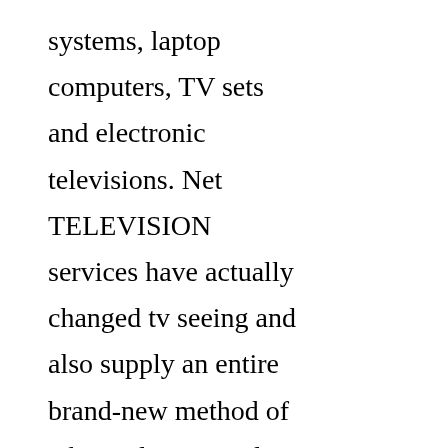systems, laptop computers, TV sets and electronic televisions. Net TELEVISION services have actually changed tv seeing and also supply an entire brand-new method of taking pleasure in live TELEVISION.

Another wonderful resource of on-line enjoyment is YouTube TELEVISION. This service is offered by the renowned video clip sharing site called YouTube. The site, which is in fact a repository of videos, gives a terrific source of home entertainment by